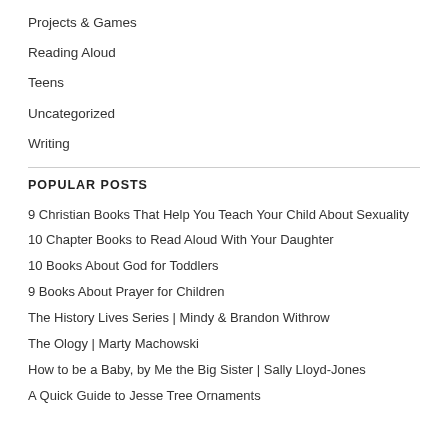Projects & Games
Reading Aloud
Teens
Uncategorized
Writing
POPULAR POSTS
9 Christian Books That Help You Teach Your Child About Sexuality
10 Chapter Books to Read Aloud With Your Daughter
10 Books About God for Toddlers
9 Books About Prayer for Children
The History Lives Series | Mindy & Brandon Withrow
The Ology | Marty Machowski
How to be a Baby, by Me the Big Sister | Sally Lloyd-Jones
A Quick Guide to Jesse Tree Ornaments